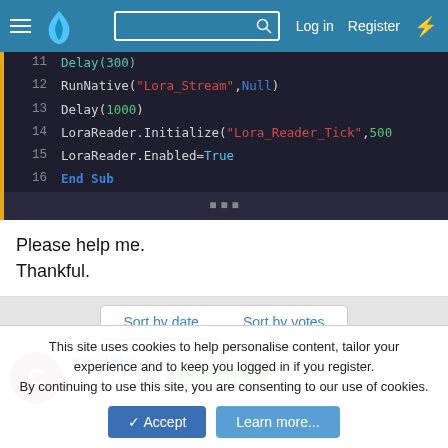Navigation bar with hamburger menu, GitLab logo, search box, Log in, Register, and lightning icon
[Figure (screenshot): Code snippet showing lines 12-16 of a Basic/VB-like program: RunNative, Delay, LoraReader.Initialize, LoraReader.Enabled=True, End Sub]
Please help me.
Thankful.
Sort by date  Sort by votes
candide
Active Member  Licensed User
This site uses cookies to help personalise content, tailor your experience and to keep you logged in if you register.
By continuing to use this site, you are consenting to our use of cookies.
Accept  Learn more...